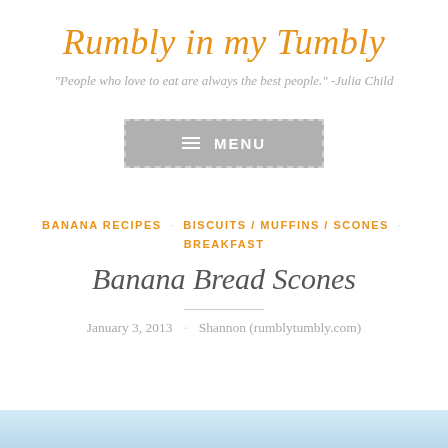Rumbly in my Tumbly
"People who love to eat are always the best people." -Julia Child
[Figure (other): Gray menu button with dashed border, hamburger icon and MENU text]
BANANA RECIPES · BISCUITS / MUFFINS / SCONES · BREAKFAST
Banana Bread Scones
January 3, 2013 · Shannon (rumblytumbly.com)
[Figure (photo): Partial image preview at bottom of page, light blue/teal tones]